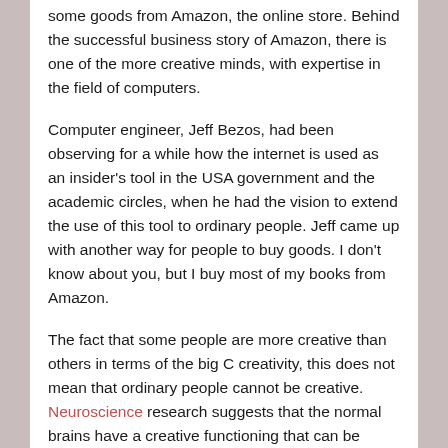some goods from Amazon, the online store. Behind the successful business story of Amazon, there is one of the more creative minds, with expertise in the field of computers.
Computer engineer, Jeff Bezos, had been observing for a while how the internet is used as an insider's tool in the USA government and the academic circles, when he had the vision to extend the use of this tool to ordinary people. Jeff came up with another way for people to buy goods. I don't know about you, but I buy most of my books from Amazon.
The fact that some people are more creative than others in terms of the big C creativity, this does not mean that ordinary people cannot be creative. Neuroscience research suggests that the normal brains have a creative functioning that can be activated and amplified with conscious effort and a little practice.
We are all wired to create in the realm of our personal and work lives. We can all bring in some originality, usefulness